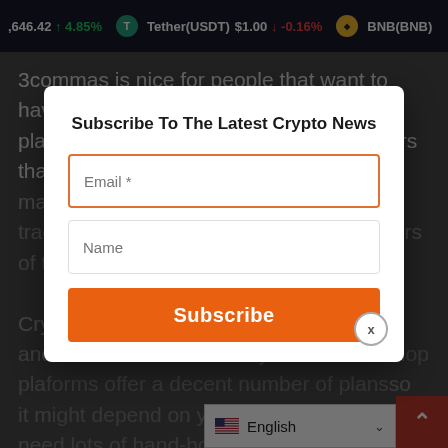646.42 ↑ 4.85% | Tether(USDT) $1.00 ↓ -0.16% | BNB(BNB)
3commas is nice for people that want to have access to a fully-automatic trading platform, which will trade along parameters that are created by the client. Both offer marketplace where you can purchase trading bots created by professional traders, which is a plus. CryptoHopper has a 7-day free trial and 3Commas has a 3 day free trial. Both platforms offer a decent number of plans so it might depend on your budget. If you need lots of hand-holding while trading, you are just starting out.
[Figure (screenshot): Subscribe to Latest Crypto News modal dialog with Email and Name fields and Subscribe button]
We recommend you at least try out both free trial periods to see which